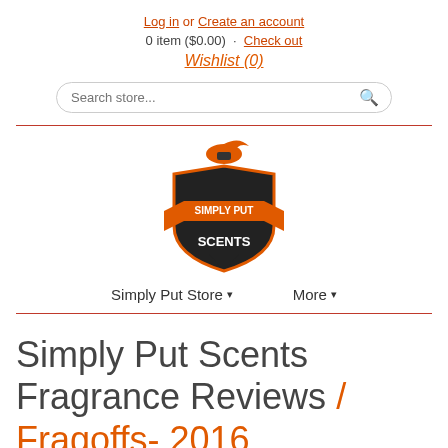Log in or Create an account
0 item ($0.00) · Check out
Wishlist (0)
[Figure (other): Search store input field with search icon]
[Figure (logo): Simply Put Scents logo — shield shape with orange and black colors, fragrance bottle spray graphic on top, text SIMPLY PUT SCENTS in white on dark background with orange banner]
Simply Put Store ▾   More ▾
Simply Put Scents Fragrance Reviews / Fragoffs- 2016